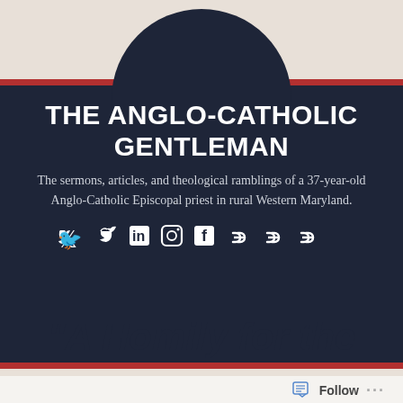[Figure (screenshot): Blog header with dark navy background, a large circle decoration at top, the blog title 'THE ANGLO-CATHOLIC GENTLEMAN', subtitle text, and social media icons (Twitter, LinkedIn, Instagram, Facebook, and three link icons)]
THE ANGLO-CATHOLIC GENTLEMAN
The sermons, articles, and theological ramblings of a 37-year-old Anglo-Catholic Episcopal priest in rural Western Maryland.
“A Homily for the